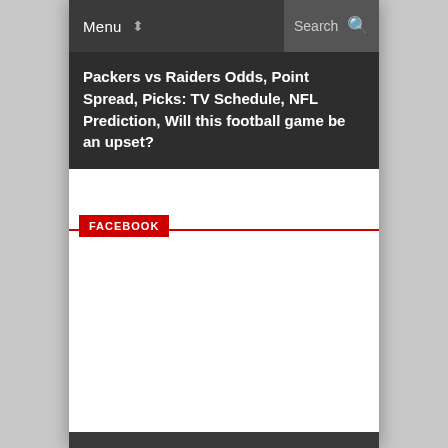Menu  Search
Packers vs Raiders Odds, Point Spread, Picks: TV Schedule, NFL Prediction, Will this football game be an upset?
FACEBOOK